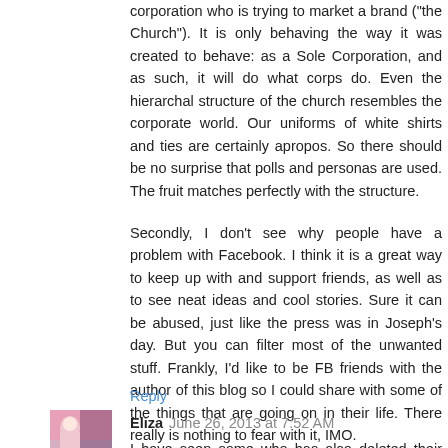corporation who is trying to market a brand ("the Church"). It is only behaving the way it was created to behave: as a Sole Corporation, and as such, it will do what corps do. Even the hierarchal structure of the church resembles the corporate world. Our uniforms of white shirts and ties are certainly apropos. So there should be no surprise that polls and personas are used. The fruit matches perfectly with the structure.
Secondly, I don't see why people have a problem with Facebook. I think it is a great way to keep up with and support friends, as well as to see neat ideas and cool stories. Sure it can be abused, just like the press was in Joseph's day. But you can filter most of the unwanted stuff. Frankly, I'd like to be FB friends with the author of this blog so I could share with some of the things that are going on in their life. There really is nothing to fear with it, IMO.
Reply
[Figure (photo): Small avatar photo of commenter Eliza, showing a colorful image]
Eliza June 26, 2013 at 7:52 AM
I have seen... who has also deleted their Facebook...